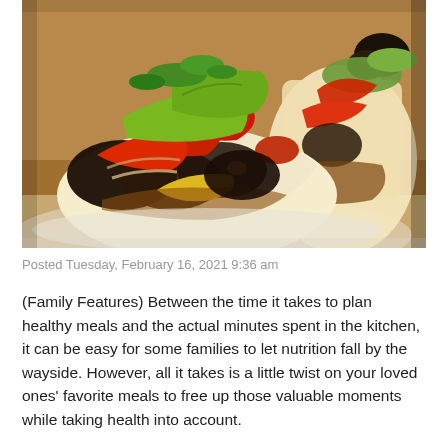[Figure (photo): Close-up photo of two vegetarian fajita-style tacos in flour tortillas filled with grilled red and green bell peppers, mushrooms, yellow peppers, and garnished with fresh herbs, on a white plate.]
Posted Tuesday, February 16, 2021 9:36 am
(Family Features) Between the time it takes to plan healthy meals and the actual minutes spent in the kitchen, it can be easy for some families to let nutrition fall by the wayside. However, all it takes is a little twist on your loved ones' favorite meals to free up those valuable moments while taking health into account.